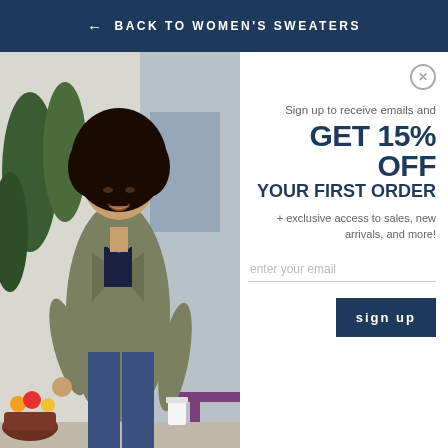← BACK TO WOMEN'S SWEATERS
[Figure (photo): A young woman with natural curly hair wearing an olive green utility jacket over a dark blue lace top and jeans, holding a white cup, standing outdoors near greenery and a purple table/pot.]
Sign up to receive emails and
GET 15% OFF YOUR FIRST ORDER
+ exclusive access to sales, new arrivals, and more!
enter your email
sign up